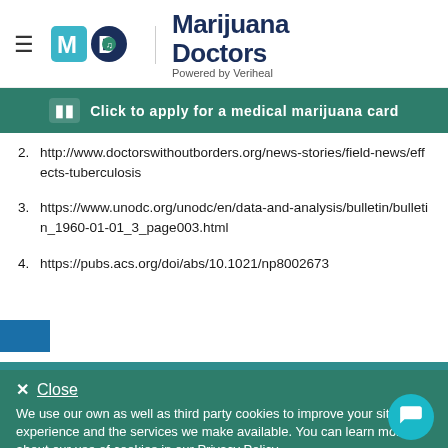Marijuana Doctors — Powered by Veriheal
Click to apply for a medical marijuana card
2. http://www.doctorswithoutborders.org/news-stories/field-news/effects-tuberculosis
3. https://www.unodc.org/unodc/en/data-and-analysis/bulletin/bulletin_1960-01-01_3_page003.html
4. https://pubs.acs.org/doi/abs/10.1021/np8002673
Close

We use our own as well as third party cookies to improve your site experience and the services we make available. You can learn more about our use of cookies in our Privacy Policy.